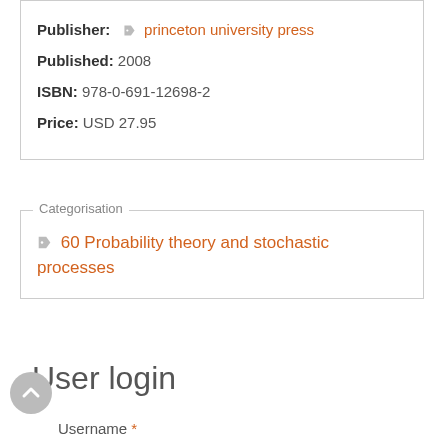Publisher: princeton university press
Published: 2008
ISBN: 978-0-691-12698-2
Price: USD 27.95
Categorisation
60 Probability theory and stochastic processes
User login
Username *